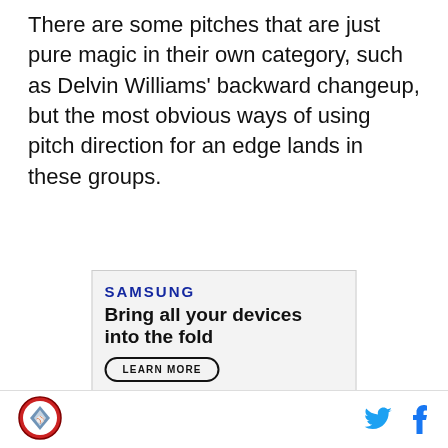There are some pitches that are just pure magic in their own category, such as Delvin Williams' backward changeup, but the most obvious ways of using pitch direction for an edge lands in these groups.
[Figure (other): Samsung advertisement for Galaxy Z Fold4. Shows Samsung logo, headline 'Bring all your devices into the fold', a 'LEARN MORE' button, images of Galaxy Z Fold4 phone and watch, earbuds, and a laptop with video call. Disclaimer text at bottom about products sold separately and S Pen compatibility.]
[Figure (logo): Website logo — circular badge with a baseball field graphic]
[Figure (other): Twitter bird icon and Facebook 'f' icon for social sharing]